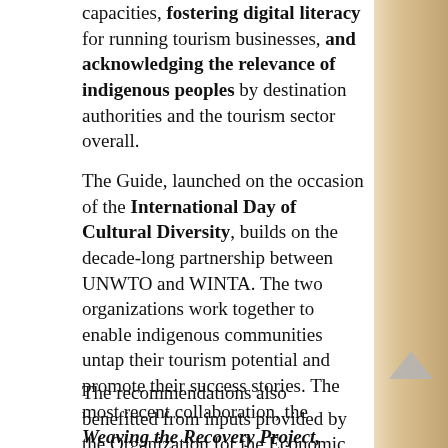capacities, fostering digital literacy for running tourism businesses, and acknowledging the relevance of indigenous peoples by destination authorities and the tourism sector overall.
The Guide, launched on the occasion of the International Day of Cultural Diversity, builds on the decade-long partnership between UNWTO and WINTA. The two organizations work together to enable indigenous communities untap their tourism potential and promote their success stories. The most recent collaboration, the Weaving the Recovery Project, focuses on empowering Indigenous women through responsible tourism experiences and indigenous artisanship in Latin America.
The recommendations also benefitted from inputs provided by the Organization for the Economic Co-operation and Development (OECD). In recent years,